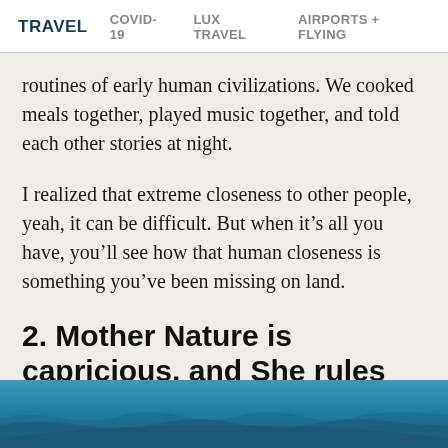TRAVEL   COVID-19   LUX TRAVEL   AIRPORTS + FLYING
routines of early human civilizations. We cooked meals together, played music together, and told each other stories at night.
I realized that extreme closeness to other people, yeah, it can be difficult. But when it’s all you have, you’ll see how that human closeness is something you’ve been missing on land.
2. Mother Nature is capricious, and She rules all.
[Figure (photo): Ocean water surface photographed from above, showing blue-teal water with slight waves and shimmer.]